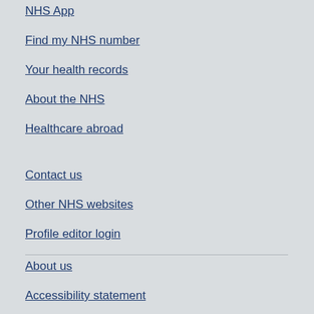NHS App
Find my NHS number
Your health records
About the NHS
Healthcare abroad
Contact us
Other NHS websites
Profile editor login
About us
Accessibility statement
Our policies